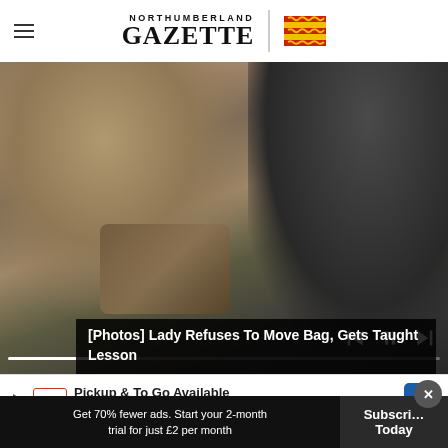NORTHUMBERLAND GAZETTE
[Figure (photo): Two people seated, a woman looking at her phone and holding a bag, and a man in a dark jacket beside her. Video player controls visible at bottom of frame.]
[Photos] Lady Refuses To Move Bag, Gets Taught Lesson
[Figure (infographic): Advertisement for McAlister's Deli: 'Pickup & To Go Available / McAlister's Deli' with logo and navigation arrow icon.]
Get 70% fewer ads. Start your 2-month trial for just £2 per month
Subscribe Today